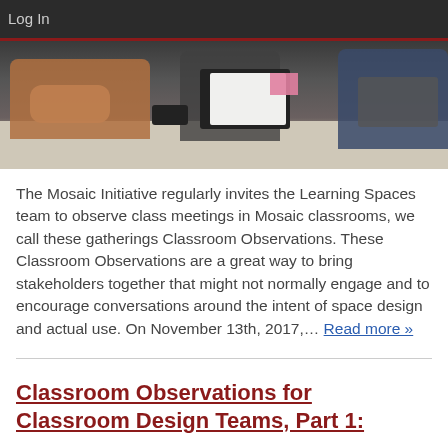Log In
[Figure (photo): People sitting around a table in a meeting or classroom observation setting; visible are hands clasped on the table, a clipboard with paper, a smartphone, a sticky note, and a laptop.]
The Mosaic Initiative regularly invites the Learning Spaces team to observe class meetings in Mosaic classrooms, we call these gatherings Classroom Observations. These Classroom Observations are a great way to bring stakeholders together that might not normally engage and to encourage conversations around the intent of space design and actual use. On November 13th, 2017,… Read more »
Classroom Observations for Classroom Design Teams, Part 1: